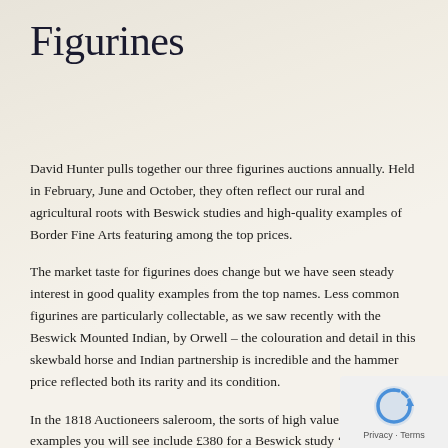Figurines
David Hunter pulls together our three figurines auctions annually. Held in February, June and October, they often reflect our rural and agricultural roots with Beswick studies and high-quality examples of Border Fine Arts featuring among the top prices.
The market taste for figurines does change but we have seen steady interest in good quality examples from the top names. Less common figurines are particularly collectable, as we saw recently with the Beswick Mounted Indian, by Orwell – the colouration and detail in this skewbald horse and Indian partnership is incredible and the hammer price reflected both its rarity and its condition.
In the 1818 Auctioneers saleroom, the sorts of high value figurine examples you will see include £380 for a Beswick study ‘Shorthorn Dairy Cow’, £340 for a Border Fine Arts study ‘Hauling Out’, and £220 for a set of Ro... Derby paperweights fashioned as Santa, Sleigh and Nine Reindeer...
For those with a more modest budget, there are some great finds too, such as